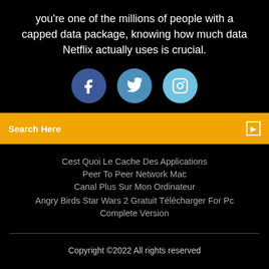you're one of the millions of people with a capped data package, knowing how much data Netflix actually uses is crucial.
[Figure (infographic): Three social media icon circles: Facebook (dark blue), Twitter (medium blue), Instagram (light blue)]
Search Here
Cest Quoi Le Cache Des Applications
Peer To Peer Network Mac
Canal Plus Sur Mon Ordinateur
Angry Birds Star Wars 2 Gratuit Télécharger For Pc Complete Version
Copyright ©2022 All rights reserved